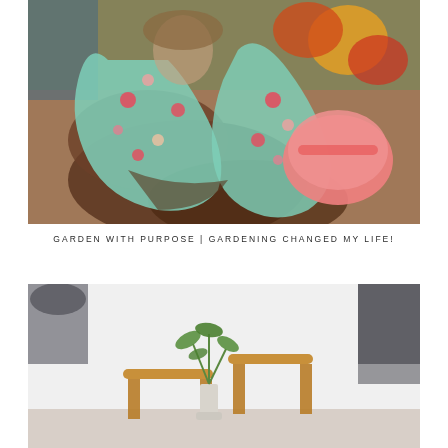[Figure (photo): Close-up of hands wearing colorful floral gardening gloves holding soil/earth, with a pink trowel or pot visible, and colorful flowers/plants in the background.]
GARDEN WITH PURPOSE | GARDENING CHANGED MY LIFE!
[Figure (photo): Interior lifestyle scene showing wooden stools and a tall green plant in a white vase, with lamps and a light airy home decor setting.]